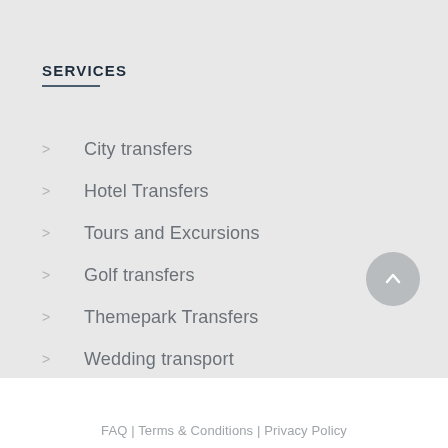SERVICES
City transfers
Hotel Transfers
Tours and Excursions
Golf transfers
Themepark Transfers
Wedding transport
FAQ | Terms & Conditions | Privacy Policy